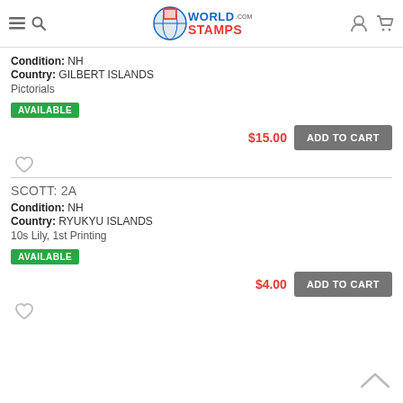WorldStamps.com
Condition: NH
Country: GILBERT ISLANDS
Pictorials
AVAILABLE
$15.00  ADD TO CART
SCOTT: 2A
Condition: NH
Country: RYUKYU ISLANDS
10s Lily, 1st Printing
AVAILABLE
$4.00  ADD TO CART